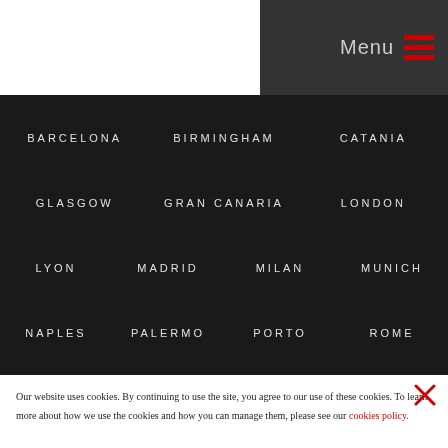Menu
BARCELONA  BIRMINGHAM  CATANIA
GLASGOW  GRAN CANARIA  LONDON
LYON  MADRID  MILAN  MUNICH
NAPLES  PALERMO  PORTO  ROME
Our website uses cookies. By continuing to use the site, you agree to our use of these cookies. To learn more about how we use the cookies and how you can manage them, please see our cookies policy.